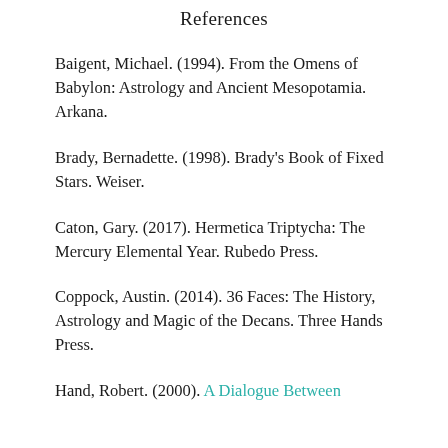References
Baigent, Michael. (1994). From the Omens of Babylon: Astrology and Ancient Mesopotamia. Arkana.
Brady, Bernadette. (1998). Brady's Book of Fixed Stars. Weiser.
Caton, Gary. (2017). Hermetica Triptycha: The Mercury Elemental Year. Rubedo Press.
Coppock, Austin. (2014). 36 Faces: The History, Astrology and Magic of the Decans. Three Hands Press.
Hand, Robert. (2000). A Dialogue Between [continues]